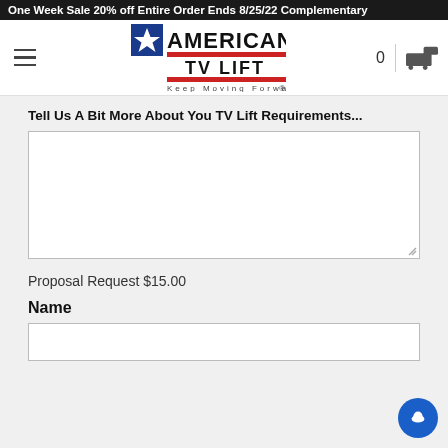One Week Sale 20% off Entire Order Ends 8/25/22 Complementary
[Figure (logo): American TV Lift logo with star icon, red bars, and tagline 'Keep Moving Forward']
Tell Us A Bit More About You TV Lift Requirements...
Proposal Request $15.00
Name